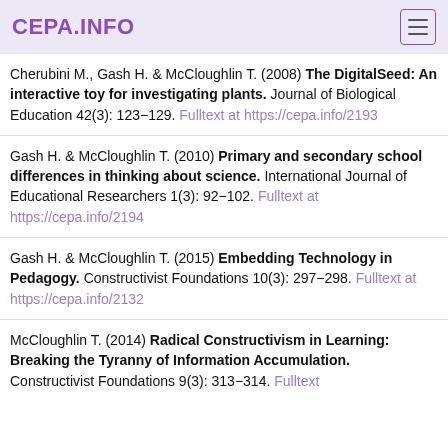CEPA.INFO
Cherubini M., Gash H. & McCloughlin T. (2008) The DigitalSeed: An interactive toy for investigating plants. Journal of Biological Education 42(3): 123−129. Fulltext at https://cepa.info/2193
Gash H. & McCloughlin T. (2010) Primary and secondary school differences in thinking about science. International Journal of Educational Researchers 1(3): 92−102. Fulltext at https://cepa.info/2194
Gash H. & McCloughlin T. (2015) Embedding Technology in Pedagogy. Constructivist Foundations 10(3): 297−298. Fulltext at https://cepa.info/2132
McCloughlin T. (2014) Radical Constructivism in Learning: Breaking the Tyranny of Information Accumulation. Constructivist Foundations 9(3): 313−314. Fulltext at ...